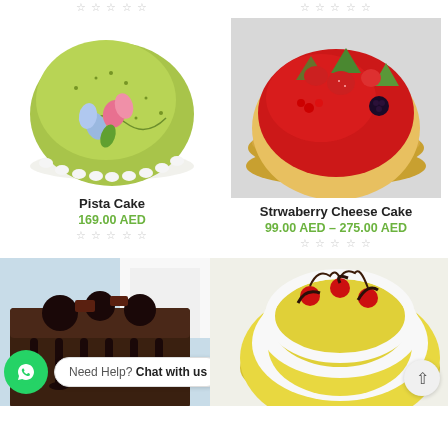[Figure (photo): Pista Cake - green pistachio round cake with white cream borders and flower decoration]
[Figure (photo): Strawberry Cheese Cake - red glazed round cheesecake with strawberries and green decorations]
Pista Cake
169.00 AED
★☆☆☆☆
Strwaberry Cheese Cake
99.00 AED – 275.00 AED
★☆☆☆☆
[Figure (photo): Chocolate drip cake with dark chocolate toppings]
[Figure (photo): Yellow cake with white cream, cherries and chocolate decoration]
Need Help? Chat with us